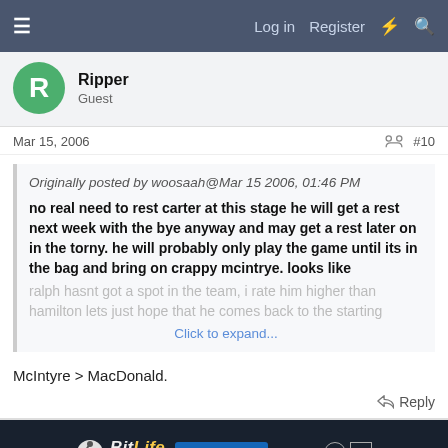≡  Log in  Register  ⚡  🔍
Ripper
Guest
Mar 15, 2006  #10
Originally posted by woosaah@Mar 15 2006, 01:46 PM
no real need to rest carter at this stage he will get a rest next week with the bye anyway and may get a rest later on in the torny. he will probably only play the game until its in the bag and bring on crappy mcintrye. looks like ralph hasnt got a spot in the team, i rate him higher than hamilton lets just hope that he comes back to the starting
Click to expand...
McIntyre > MacDonald.
Reply
[Figure (screenshot): BitLife advertisement banner with 'NOW WITH GOD MODE' text and animated hand cursor]